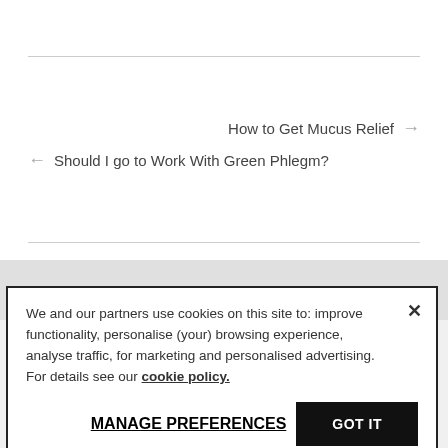How to Get Mucus Relief →
← Should I go to Work With Green Phlegm?
We and our partners use cookies on this site to: improve functionality, personalise (your) browsing experience, analyse traffic, for marketing and personalised advertising. For details see our cookie policy.
MANAGE PREFERENCES
GOT IT